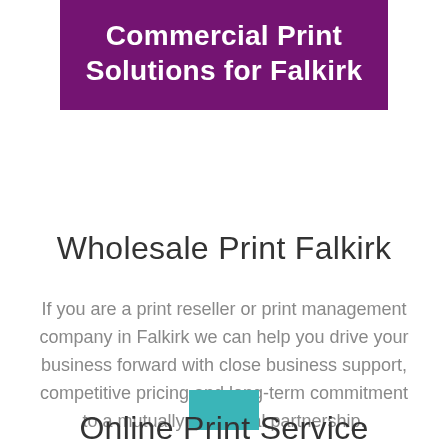Commercial Print Solutions for Falkirk
Wholesale Print Falkirk
If you are a print reseller or print management company in Falkirk we can help you drive your business forward with close business support, competitive pricing and long-term commitment to a mutually beneficial partnership.
[Figure (other): Teal/turquoise decorative rectangle divider]
Online Print Service